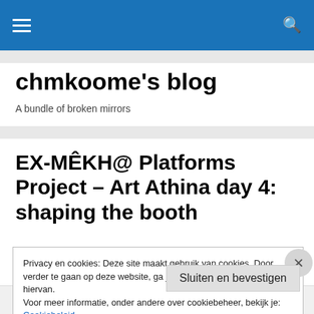chmkoome's blog navigation bar
chmkoome's blog
A bundle of broken mirrors
EX-MÊKH@ Platforms Project – Art Athina day 4: shaping the booth
Privacy en cookies: Deze site maakt gebruik van cookies. Door verder te gaan op deze website, ga je akkoord met het gebruik hiervan.
Voor meer informatie, onder andere over cookiebeheer, bekijk je:
Cookiebeleid
Sluiten en bevestigen